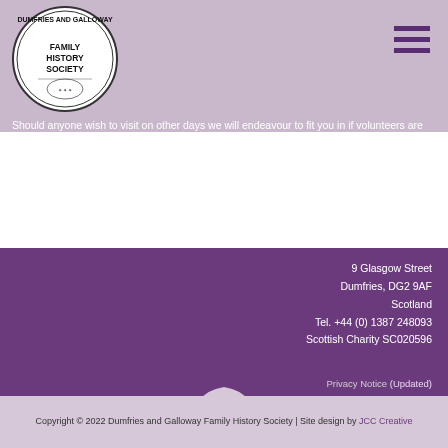[Figure (logo): Dumfries and Galloway Family History Society circular logo with text and decorative emblem]
Should anyone wish to visit on other days we will endeavour to fit you in if volunteers are available.
9 Glasgow Street
Dumfries, DG2 9AF
Scotland
Tel. +44 (0) 1387 248093
Scottish Charity SC020596
Privacy Notice (Updated)
Copyright © 2022 Dumfries and Galloway Family History Society | Site design by JCC Creative